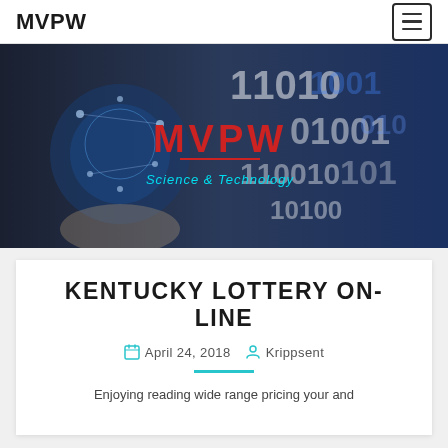MVPW
[Figure (photo): Hero banner image showing a person holding a digital globe with network icons on the left, and binary/digital numbers on a blue background on the right, with MVPW Science & Technology text overlay in red and white]
KENTUCKY LOTTERY ON-LINE
April 24, 2018   Krippsent
Enjoying reading wide range pricing your and